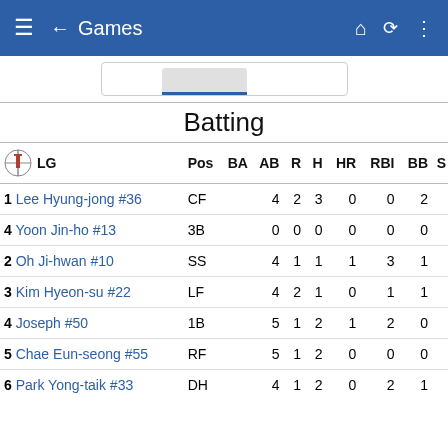Games
| LG | Pos | BA | AB | R | H | HR | RBI | BB | S |
| --- | --- | --- | --- | --- | --- | --- | --- | --- | --- |
| 1 Lee Hyung-jong #36 | CF |  | 4 | 2 | 3 | 0 | 0 | 2 |  |
| 4 Yoon Jin-ho #13 | 3B |  | 0 | 0 | 0 | 0 | 0 | 0 |  |
| 2 Oh Ji-hwan #10 | SS |  | 4 | 1 | 1 | 1 | 3 | 1 |  |
| 3 Kim Hyeon-su #22 | LF |  | 4 | 2 | 1 | 0 | 1 | 1 |  |
| 4 Joseph #50 | 1B |  | 5 | 1 | 2 | 1 | 2 | 0 |  |
| 5 Chae Eun-seong #55 | RF |  | 5 | 1 | 2 | 0 | 0 | 0 |  |
| 6 Park Yong-taik #33 | DH |  | 4 | 1 | 2 | 0 | 2 | 1 |  |